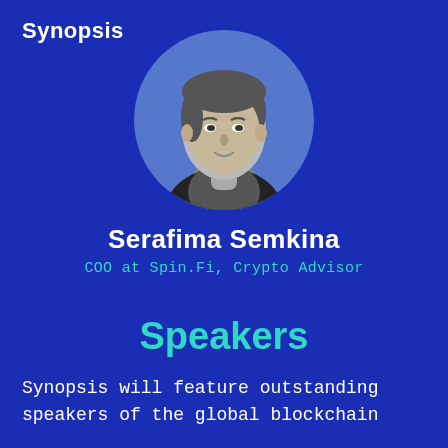Synopsis
[Figure (photo): Black and white portrait photo of Serafima Semkina in a circular frame on a blue background]
Serafima Semkina
COO at Spin.Fi, Crypto Advisor
Speakers
Synopsis will feature outstanding speakers of the global blockchain